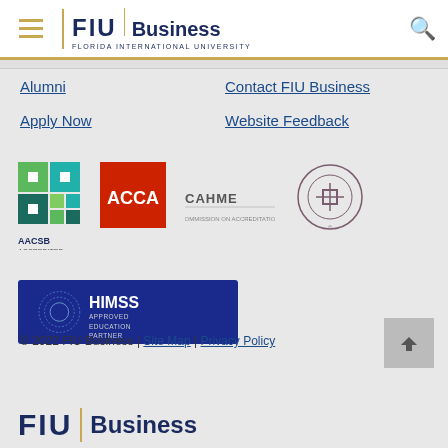[Figure (logo): FIU Business - Florida International University header logo with hamburger menu and search icon]
Alumni
Apply Now
Contact FIU Business
Website Feedback
[Figure (logo): AACSB Accredited logo - green and teal geometric squares]
[Figure (logo): ACCA logo - red square with white ACCA text]
[Figure (logo): CAHME logo - text logo]
[Figure (logo): EFMD logo - circular emblem with laurel wreath]
[Figure (logo): HIMSS Approved Education Partner banner - dark blue background with HIMSS logo and text]
© 2022 FIU Business | Site Map | Privacy Policy
[Figure (logo): FIU Business bottom logo - Florida International University]